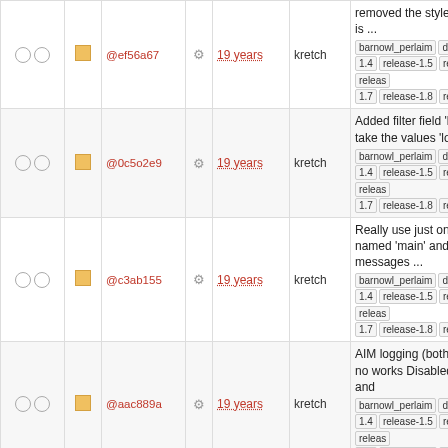| check | sq | hash | gear | age | author | message |
| --- | --- | --- | --- | --- | --- | --- |
| ○ ○ | ■ | @ef56a67 | ⚙ | 19 years | kretch | removed the style variable r.sy is ...
barnowl_perlaim debian owl rel 1.4 release-1.5 release-1.6 releas 1.7 release-1.8 release-1.9 |
| ○ ○ | ■ | @0c5o2e9 | ⚙ | 19 years | kretch | Added filter field 'login' which ca take the values 'login' ...
barnowl_perlaim debian owl rel 1.4 release-1.5 release-1.6 releas 1.7 release-1.8 release-1.9 |
| ○ ○ | ■ | @c3ab155 | ⚙ | 19 years | kretch | Really use just one view now, named 'main' and recalculate messages ...
barnowl_perlaim debian owl rel 1.4 release-1.5 release-1.6 releas 1.7 release-1.8 release-1.9 |
| ○ ○ | ■ | @aac889a | ⚙ | 19 years | kretch | AIM logging (both in and out) no works Disabled 'addbuddy' and ...
barnowl_perlaim debian owl rel 1.4 release-1.5 release-1.6 releas 1.7 release-1.8 release-1.9 |
| ○ ○ | ■ | @65ad073 | ⚙ | 19 years | kretch | 'addbuddy zephyr <user>' and 'delbuddy zephyr <user>' now work.
barnowl_perlaim debian owl rel 1.4 release-1.5 release-1.6 releas 1.7 release-1.8 release-1.9 |
| ○ ○ | ■ | @6a415e9 | ⚙ | 19 years | kretch | Added the variable 'aim_ingorelogin_timer', which specifies the number ...
barnowl_perlaim debian owl rel 1.4 release-1.5 release-1.6 releas 1.7 release-1.8 release-1.9 |
| ○ ○ | ■ |  |  |  |  | Added the 'startup' and 'unstart... |